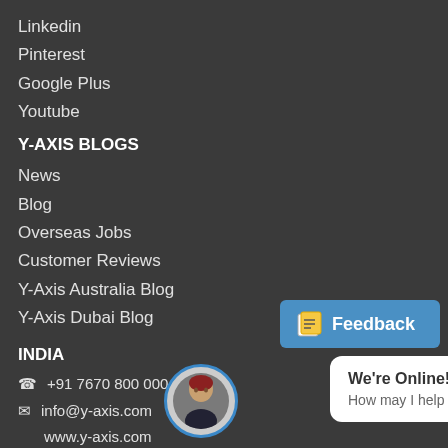Linkedin
Pinterest
Google Plus
Youtube
Y-AXIS BLOGS
News
Blog
Overseas Jobs
Customer Reviews
Y-Axis Australia Blog
Y-Axis Dubai Blog
INDIA
☎ +91 7670 800 000
✉ info@y-axis.com
www.y-axis.com
[Figure (screenshot): Feedback button in blue]
AUSTRALIA
[Figure (infographic): Chat bubble saying 'We're Online! How may I help you today?' with avatar]